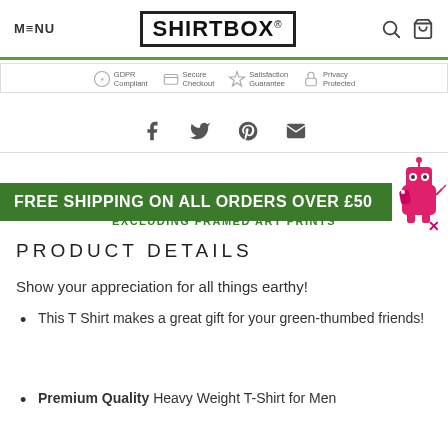MENU | SHIRTBOX® | [search] [cart]
[Figure (infographic): Trust badges row: GDPR Compliant, Secure Checkout, Satisfaction Guarantee, Privacy Protected]
[Figure (infographic): Social share icons: Facebook, Twitter, Pinterest, Email]
[Figure (illustration): Pink robot mascot in top-right corner]
FREE SHIPPING ON ALL ORDERS OVER £50
EXCLUDING FRAMED ART PRINTS
PRODUCT DETAILS
Show your appreciation for all things earthy!
This T Shirt makes a great gift for your green-thumbed friends!
Premium Quality Heavy Weight T-Shirt for Men